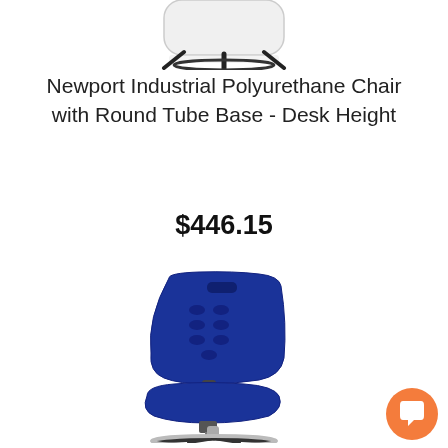[Figure (photo): Partial view of a white/light-colored industrial chair top with black round tube base, cropped at top of page]
Newport Industrial Polyurethane Chair with Round Tube Base - Desk Height
$446.15
[Figure (photo): Blue polyurethane industrial desk chair with molded seat and back, black adjustable base with chrome footring, shown on white background]
[Figure (other): Orange circular chat/messaging button widget in bottom right corner]